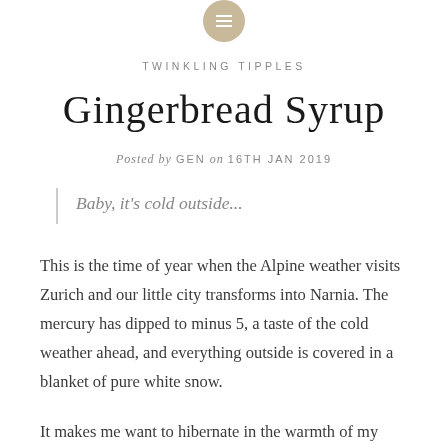[Figure (logo): Small circular golden/tan icon with three horizontal white lines (hamburger menu icon) at the top center of the page]
TWINKLING TIPPLES
Gingerbread Syrup
Posted by GEN on 16TH JAN 2019
Baby, it's cold outside...
This is the time of year when the Alpine weather visits Zurich and our little city transforms into Narnia. The mercury has dipped to minus 5, a taste of the cold weather ahead, and everything outside is covered in a blanket of pure white snow.
It makes me want to hibernate in the warmth of my